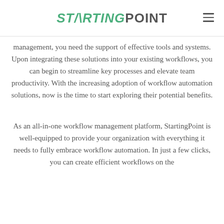STARTINGPOINT
management, you need the support of effective tools and systems. Upon integrating these solutions into your existing workflows, you can begin to streamline key processes and elevate team productivity. With the increasing adoption of workflow automation solutions, now is the time to start exploring their potential benefits.
As an all-in-one workflow management platform, StartingPoint is well-equipped to provide your organization with everything it needs to fully embrace workflow automation. In just a few clicks, you can create efficient workflows on the